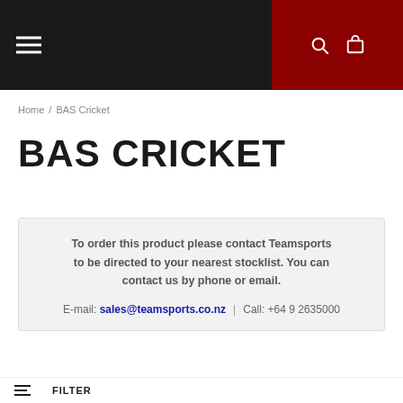Navigation bar with hamburger menu and search/cart icons
Home / BAS Cricket
BAS CRICKET
To order this product please contact Teamsports to be directed to your nearest stocklist. You can contact us by phone or email.

E-mail: sales@teamsports.co.nz | Call: +64 9 2635000
FILTER